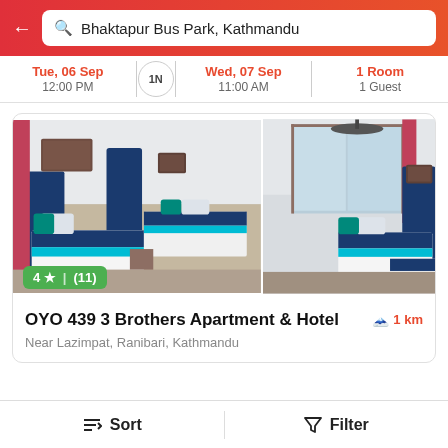Bhaktapur Bus Park, Kathmandu
Tue, 06 Sep 12:00 PM | 1N | Wed, 07 Sep 11:00 AM | 1 Room 1 Guest
[Figure (photo): Two hotel room photos side by side showing blue and white twin-bed rooms]
4 ★ (11)
OYO 439 3 Brothers Apartment & Hotel
1 km
Near Lazimpat, Ranibari, Kathmandu
Sort   Filter